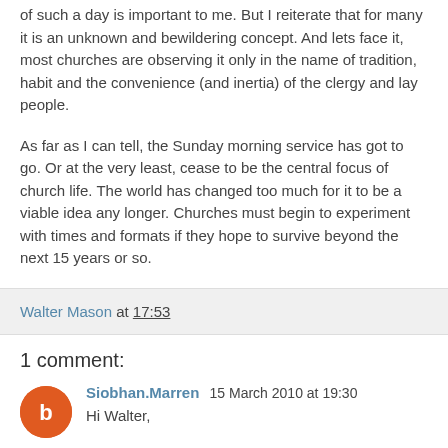of such a day is important to me. But I reiterate that for many it is an unknown and bewildering concept. And lets face it, most churches are observing it only in the name of tradition, habit and the convenience (and inertia) of the clergy and lay people.
As far as I can tell, the Sunday morning service has got to go. Or at the very least, cease to be the central focus of church life. The world has changed too much for it to be a viable idea any longer. Churches must begin to experiment with times and formats if they hope to survive beyond the next 15 years or so.
Walter Mason at 17:53
1 comment:
Siobhan.Marren 15 March 2010 at 19:30
Hi Walter,